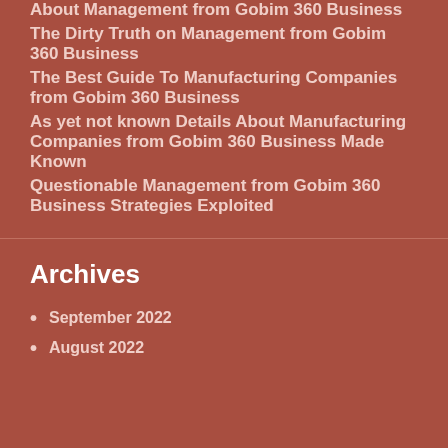About Management from Gobim 360 Business
The Dirty Truth on Management from Gobim 360 Business
The Best Guide To Manufacturing Companies from Gobim 360 Business
As yet not known Details About Manufacturing Companies from Gobim 360 Business Made Known
Questionable Management from Gobim 360 Business Strategies Exploited
Archives
September 2022
August 2022